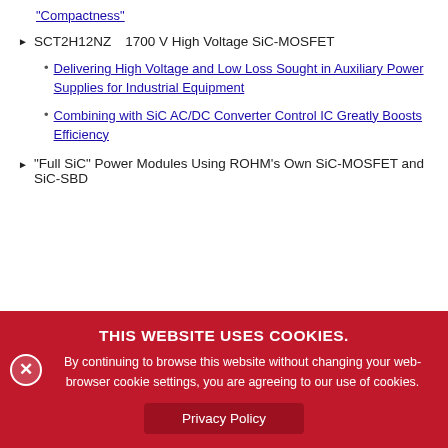"Compactness"
SCT2H12NZ　1700 V High Voltage SiC-MOSFET
Delivering High Voltage and Low Loss Sought in Auxiliary Power Supplies for Industrial Equipment
Combining with SiC AC/DC Converter Control IC Greatly Boosts Efficiency
"Full SiC" Power Modules Using ROHM's Own SiC-MOSFET and SiC-SBD
THIS WEBSITE USES COOKIES. By continuing to browse this website without changing your web-browser cookie settings, you are agreeing to our use of cookies.
Privacy Policy